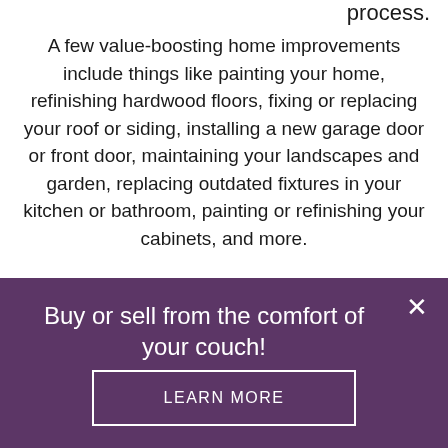process.
A few value-boosting home improvements include things like painting your home, refinishing hardwood floors, fixing or replacing your roof or siding, installing a new garage door or front door, maintaining your landscapes and garden, replacing outdated fixtures in your kitchen or bathroom, painting or refinishing your cabinets, and more.
Buy or sell from the comfort of your couch!
LEARN MORE